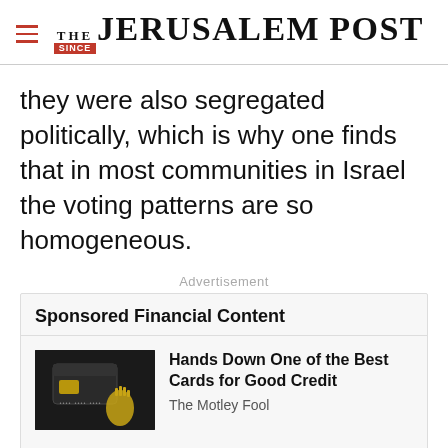THE JERUSALEM POST
they were also segregated politically, which is why one finds that in most communities in Israel the voting patterns are so homogeneous.
Advertisement
Sponsored Financial Content
[Figure (photo): Dark image of a gold credit card and gold charm/hand figure on a dark background]
Hands Down One of the Best Cards for Good Credit
The Motley Fool
[Figure (photo): Partially visible image, cropped at bottom of page]
Here’s Bill Bonner’s “4th
Advertisement